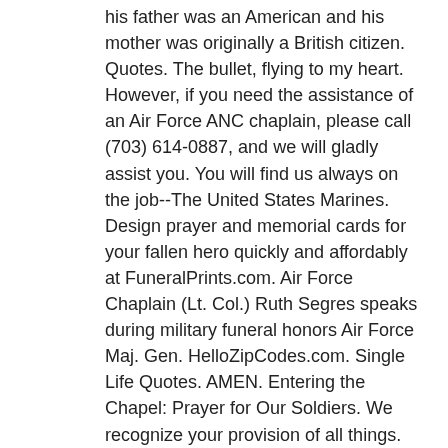his father was an American and his mother was originally a British citizen. Quotes. The bullet, flying to my heart. However, if you need the assistance of an Air Force ANC chaplain, please call (703) 614-0887, and we will gladly assist you. You will find us always on the job--The United States Marines. Design prayer and memorial cards for your fallen hero quickly and affordably at FuneralPrints.com. Air Force Chaplain (Lt. Col.) Ruth Segres speaks during military funeral honors Air Force Maj. Gen. HelloZipCodes.com. Single Life Quotes. AMEN. Entering the Chapel: Prayer for Our Soldiers. We recognize your provision of all things. Free Access to Sermons on Airforce Funeral, Church Sermons, Illustrations on Airforce Funeral, and Preaching Slides on Airforce Funeral. From afar, drawing nigh, falls the night. From war's alarms, from deadly pestilence. Thou of the tempered winds be near that, having thee, they know no fear. In the snow of